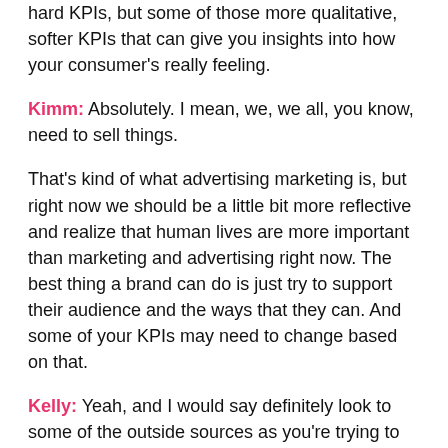hard KPIs, but some of those more qualitative, softer KPIs that can give you insights into how your consumer's really feeling.
Kimm: Absolutely. I mean, we, we all, you know, need to sell things.
That's kind of what advertising marketing is, but right now we should be a little bit more reflective and realize that human lives are more important than marketing and advertising right now. The best thing a brand can do is just try to support their audience and the ways that they can. And some of your KPIs may need to change based on that.
Kelly: Yeah, and I would say definitely look to some of the outside sources as you're trying to justify performance or pull together insights on a report because the reason for that change might not make sense right now.
Look at what's happening in the advertising space in general within that platform or with the competition. Are CPCs dropping? Are you seeing your competitors pull